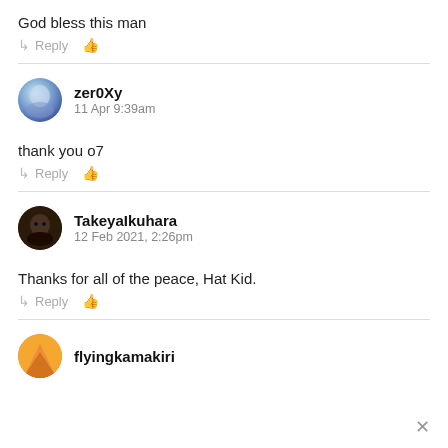God bless this man
↳ Reply 👍
zer0Xy
11 Apr 9:39am
thank you o7
↳ Reply 👍
TakeyaIkuhara
12 Feb 2021, 2:26pm
Thanks for all of the peace, Hat Kid.
↳ Reply 👍
flyingkamakiri